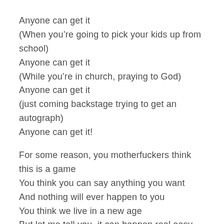Anyone can get it
(When you're going to pick your kids up from school)
Anyone can get it
(While you're in church, praying to God)
Anyone can get it
(just coming backstage trying to get an autograph)
Anyone can get it!
For some reason, you motherfuckers think this is a game
You think you can say anything you want
And nothing will ever happen to you
You think we live in a new age
But let me tell you, it can happen real easy
Don't make me bring the gravity nigga
You can get hit with the fifth
Twisted with the biscuit